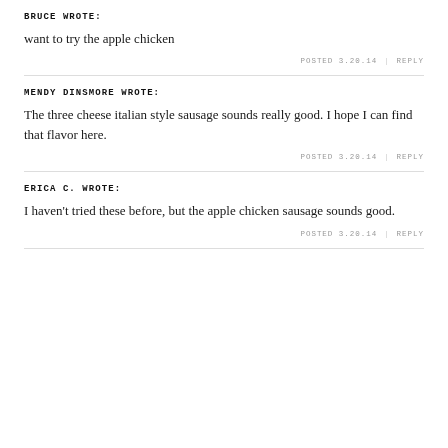BRUCE WROTE:
want to try the apple chicken
POSTED 3.20.14  |  REPLY
MENDY DINSMORE WROTE:
The three cheese italian style sausage sounds really good. I hope I can find that flavor here.
POSTED 3.20.14  |  REPLY
ERICA C. WROTE:
I haven't tried these before, but the apple chicken sausage sounds good.
POSTED 3.20.14  |  REPLY